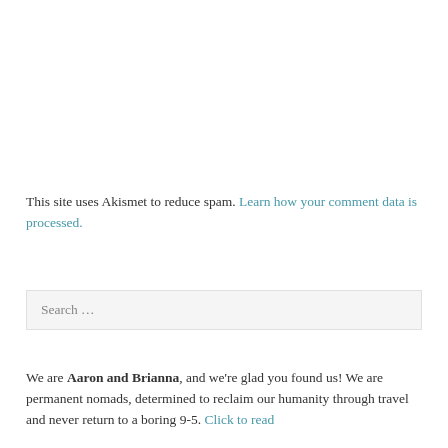This site uses Akismet to reduce spam. Learn how your comment data is processed.
Search ...
We are Aaron and Brianna, and we're glad you found us! We are permanent nomads, determined to reclaim our humanity through travel and never return to a boring 9-5. Click to read